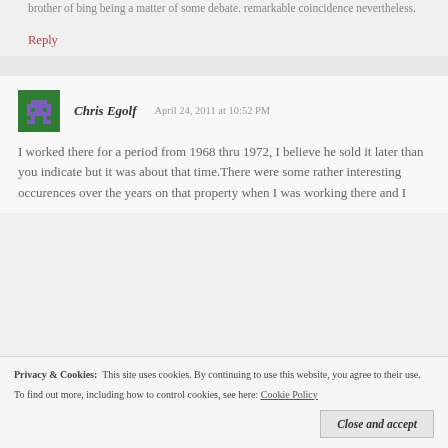brother of bing being a matter of some debate. remarkable coincidence nevertheless.
Reply
Chris Egolf   April 24, 2011 at 10:52 PM
I worked there for a period from 1968 thru 1972, I believe he sold it later than you indicate but it was about that time.There were some rather interesting occurences over the years on that property when I was working there and I
Privacy & Cookies:  This site uses cookies. By continuing to use this website, you agree to their use. To find out more, including how to control cookies, see here: Cookie Policy
Close and accept